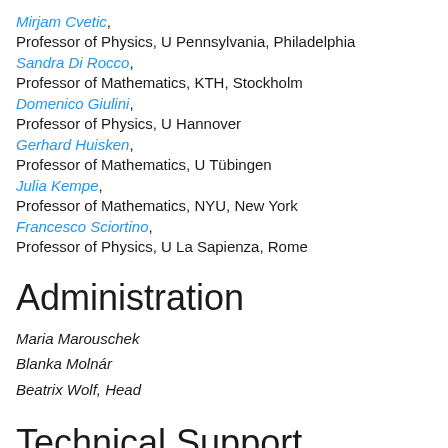Mirjam Cvetic, Professor of Physics, U Pennsylvania, Philadelphia
Sandra Di Rocco, Professor of Mathematics, KTH, Stockholm
Domenico Giulini, Professor of Physics, U Hannover
Gerhard Huisken, Professor of Mathematics, U Tübingen
Julia Kempe, Professor of Mathematics, NYU, New York
Francesco Sciortino, Professor of Physics, U La Sapienza, Rome
Administration
Maria Marouschek
Blanka Molnár
Beatrix Wolf, Head
Technical Support